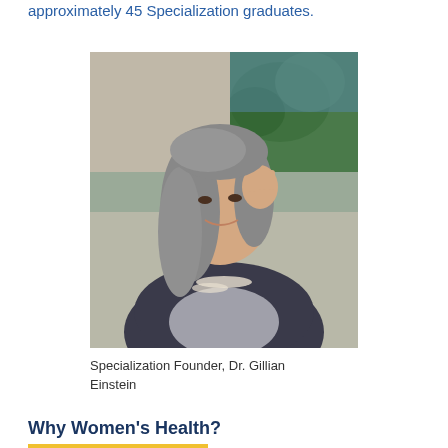approximately 45 Specialization graduates.
[Figure (photo): Portrait photo of Dr. Gillian Einstein, a woman with long gray hair and pearl necklace, smiling and resting her hand on her cheek, wearing a dark blazer. A colorful impressionist painting is visible in the background.]
Specialization Founder, Dr. Gillian Einstein
Why Women's Health?